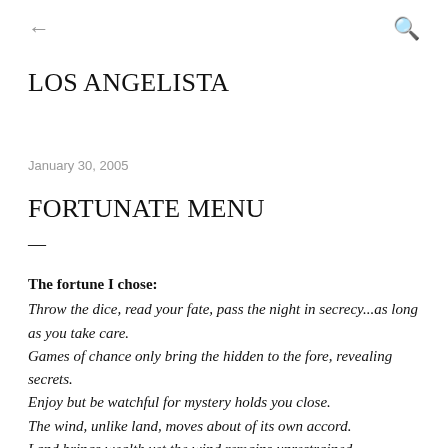← LOS ANGELISTA 🔍
LOS ANGELISTA
January 30, 2005
FORTUNATE MENU
—
The fortune I chose:
Throw the dice, read your fate, pass the night in secrecy...as long as you take care.
Games of chance only bring the hidden to the fore, revealing secrets.
Enjoy but be watchful for mystery holds you close.
The wind, unlike land, moves about of its own accord.
Land brings wealth yet the wind remains unrestrained.
Which will you choose?